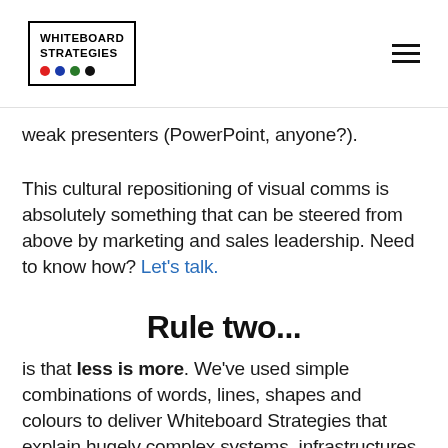WHITEBOARD STRATEGIES
weak presenters (PowerPoint, anyone?).
This cultural repositioning of visual comms is absolutely something that can be steered from above by marketing and sales leadership. Need to know how? Let's talk.
Rule two...
is that less is more. We've used simple combinations of words, lines, shapes and colours to deliver Whiteboard Strategies that explain hugely complex systems, infrastructures and deals for some of the